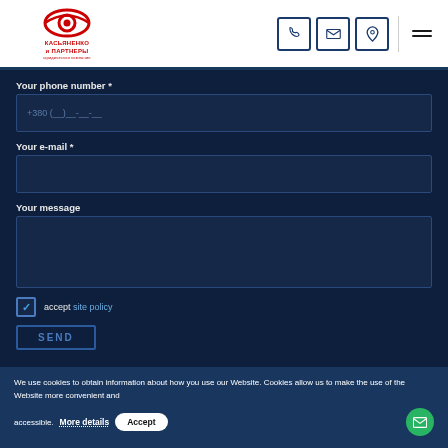[Figure (logo): Kasyanenko and Partners legal company logo with eye symbol and Cyrillic text]
Your phone number *
+380 (__)__-__-__
Your e-mail *
Your message
accept site policy
SEND
We use cookies to obtain information about how you use our Website. Cookies allow us to make the use of the Website more convenient and accessible. More details Accept